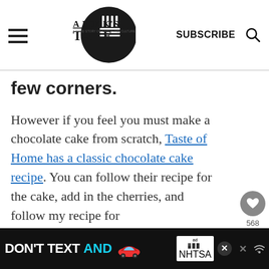A Fork's Tale — SUBSCRIBE
few corners.
However if you feel you must make a chocolate cake from scratch, Taste of Home has a classic chocolate cake recipe. You can follow their recipe for the cake, add in the cherries, and follow my recipe for
[Figure (other): DON'T TEXT AND [car emoji] advertisement banner with NHTSA logo at bottom of page]